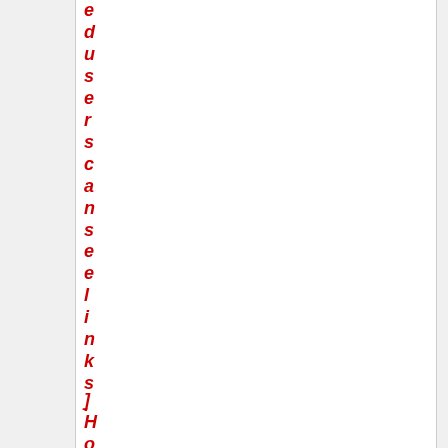eduserscanselinks.
[Figure (screenshot): Button labeled 'Click Here To Register...']
J Honestly t